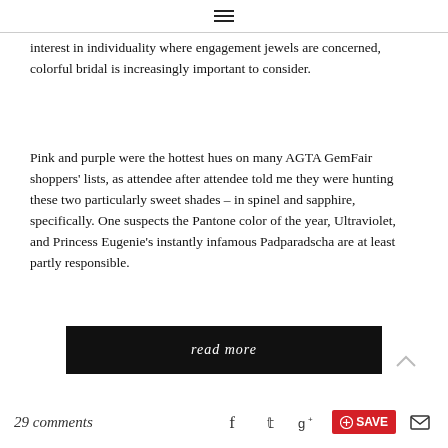≡
interest in individuality where engagement jewels are concerned, colorful bridal is increasingly important to consider.
Pink and purple were the hottest hues on many AGTA GemFair shoppers' lists, as attendee after attendee told me they were hunting these two particularly sweet shades – in spinel and sapphire, specifically. One suspects the Pantone color of the year, Ultraviolet, and Princess Eugenie's instantly infamous Padparadscha are at least partly responsible.
read more
29 comments